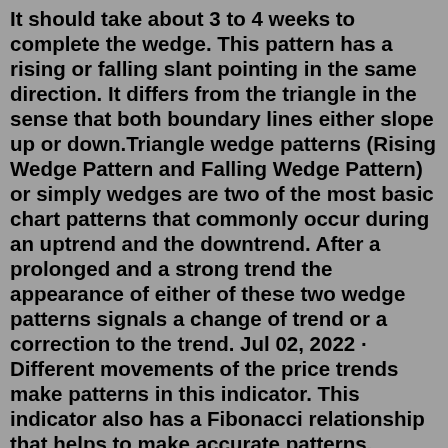It should take about 3 to 4 weeks to complete the wedge. This pattern has a rising or falling slant pointing in the same direction. It differs from the triangle in the sense that both boundary lines either slope up or down.Triangle wedge patterns (Rising Wedge Pattern and Falling Wedge Pattern) or simply wedges are two of the most basic chart patterns that commonly occur during an uptrend and the downtrend. After a prolonged and a strong trend the appearance of either of these two wedge patterns signals a change of trend or a correction to the trend. Jul 02, 2022 · Different movements of the price trends make patterns in this indicator. This indicator also has a Fibonacci relationship that helps to make accurate patterns. Triangle Wedge Pattern Indicator Strategy MT4. The triangle Pattern indicator is a custom for technical analysis. This indicator is the most profitable. Jan 25, 2022 · Triangle - Several different types of triangle pattern include symmetric Triangle, Ascending Triangle and Descending Triangle. Rising wedge - This pattern initially...